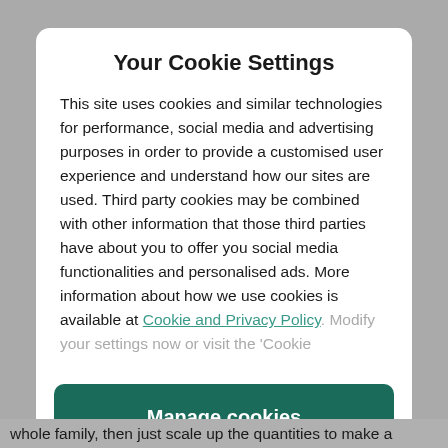Your Cookie Settings
This site uses cookies and similar technologies for performance, social media and advertising purposes in order to provide a customised user experience and understand how our sites are used. Third party cookies may be combined with other information that those third parties have about you to offer you social media functionalities and personalised ads. More information about how we use cookies is available at Cookie and Privacy Policy. Modify your settings now or visit the 'Cookie
Manage cookies
Yes I accept
whole family, then just scale up the quantities to make a